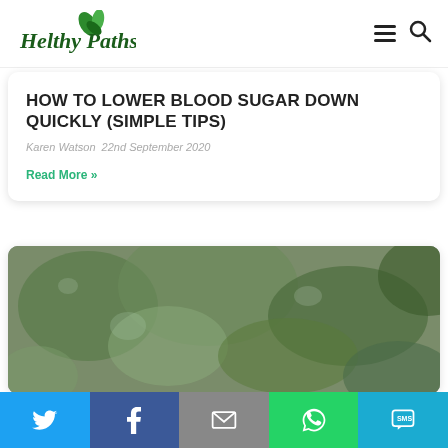Helthy Paths
HOW TO LOWER BLOOD SUGAR DOWN QUICKLY (SIMPLE TIPS)
Karen Watson 22nd September 2020
Read More »
[Figure (photo): Blurred greenery/nature background image serving as a card thumbnail]
Social sharing bar with Twitter, Facebook, Email, WhatsApp, SMS buttons